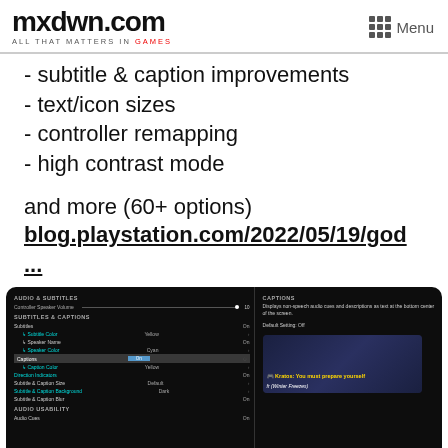mxdwn.com ALL THAT MATTERS IN GAMES | Menu
- subtitle & caption improvements
- text/icon sizes
- controller remapping
- high contrast mode
and more (60+ options)
blog.playstation.com/2022/05/19/god
...
[Figure (screenshot): Screenshot of a PlayStation game settings menu showing AUDIO & SUBTITLES section with SUBTITLES & CAPTIONS options (Subtitles, Subtitle Color: Yellow, Speaker Name: On, Speaker Color: Cyan, Captions: On highlighted, Caption Color: Yellow, Direction Indicators: On, Subtitle & Caption Size: Default, Subtitle & Caption Background: Dark, Subtitle & Caption Blur: On, AUDIO USABILITY, Audio Cues: On) and a CAPTIONS panel on the right explaining the feature with a preview image showing Kratos saying 'You must prepare yourself' and '(Water Freezes)' caption.]